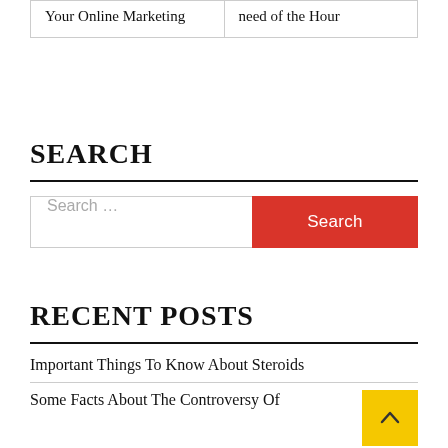| Your Online Marketing | need of the Hour |
SEARCH
[Figure (other): Search bar with text input placeholder 'Search ...' and a red 'Search' button]
RECENT POSTS
Important Things To Know About Steroids
Some Facts About The Controversy Of